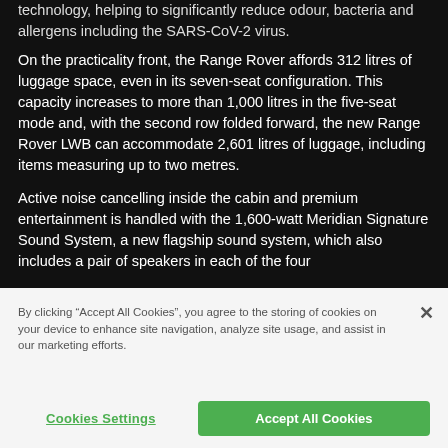technology, helping to significantly reduce odour, bacteria and allergens including the SARS-CoV-2 virus.
On the practicality front, the Range Rover affords 312 litres of luggage space, even in its seven-seat configuration. This capacity increases to more than 1,000 litres in the five-seat mode and, with the second row folded forward, the new Range Rover LWB can accommodate 2,601 litres of luggage, including items measuring up to two metres.
Active noise cancelling inside the cabin and premium entertainment is handled with the 1,600-watt Meridian Signature Sound System, a new flagship sound system, which also includes a pair of speakers in each of the four
By clicking “Accept All Cookies”, you agree to the storing of cookies on your device to enhance site navigation, analyze site usage, and assist in our marketing efforts.
Cookies Settings
Accept All Cookies